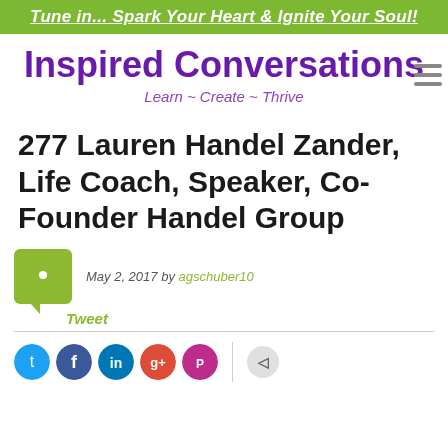Tune in... Spark Your Heart & Ignite Your Soul!
Inspired Conversations
Learn ~ Create ~ Thrive
277 Lauren Handel Zander, Life Coach, Speaker, Co-Founder Handel Group
May 2, 2017 by agschuber10
Tweet